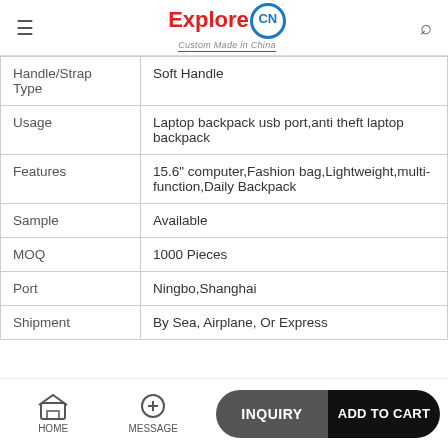ExploreCN - Custom Made in China
| Attribute | Value |
| --- | --- |
| Handle/Strap Type | Soft Handle |
| Usage | Laptop backpack usb port,anti theft laptop backpack |
| Features | 15.6" computer,Fashion bag,Lightweight,multi-function,Daily Backpack |
| Sample | Available |
| MOQ | 1000 Pieces |
| Port | Ningbo,Shanghai |
| Shipment | By Sea, Airplane, Or Express |
HOME  MESSAGE  INQUIRY  ADD TO CART